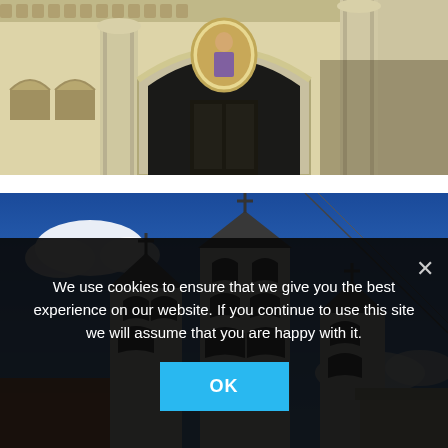[Figure (photo): Close-up photograph of a white church facade with ornate arched entrance, decorative columns with Corinthian capitals, a circular icon/mosaic of a saint above the doorway, and decorative architectural details in cream/beige tones.]
[Figure (photo): Photograph of white Orthodox church bell towers with crosses on top against a deep blue sky with a few white clouds. Three tiered bell towers visible with arched windows. Terracotta roof of a neighboring building visible at left. A utility wire extends diagonally across the sky.]
We use cookies to ensure that we give you the best experience on our website. If you continue to use this site we will assume that you are happy with it.
OK